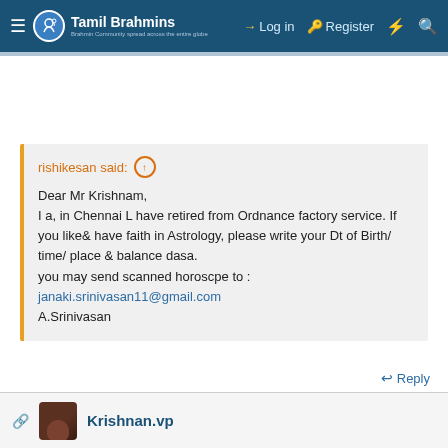Tamil Brahmins — Log in | Register
rishikesan said:
Dear Mr Krishnam,
I a, in Chennai L have retired from Ordnance factory service. If you like& have faith in Astrology, please write your Dt of Birth/ time/ place & balance dasa.
you may send scanned horoscpe to : janaki.srinivasan11@gmail.com
A.Srinivasan
Reply
Krishnan.vp